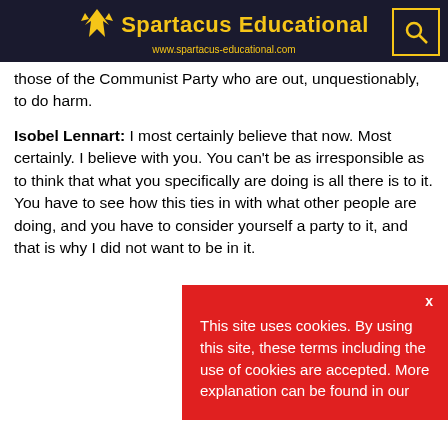Spartacus Educational www.spartacus-educational.com
those of the Communist Party who are out, unquestionably, to do harm.
Isobel Lennart: I most certainly believe that now. Most certainly. I believe with you. You can't be as irresponsible as to think that what you specifically are doing is all there is to it. You have to see how this ties in with what other people are doing, and you have to consider yourself a party to it, and that is why I did not want to be in it.
This site uses cookies. By using this site, these terms including the use of cookies are accepted. More explanation can be found in our